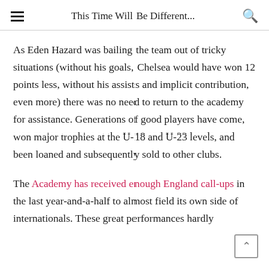This Time Will Be Different...
As Eden Hazard was bailing the team out of tricky situations (without his goals, Chelsea would have won 12 points less, without his assists and implicit contribution, even more) there was no need to return to the academy for assistance. Generations of good players have come, won major trophies at the U-18 and U-23 levels, and been loaned and subsequently sold to other clubs.
The Academy has received enough England call-ups in the last year-and-a-half to almost field its own side of internationals. These great performances hardly